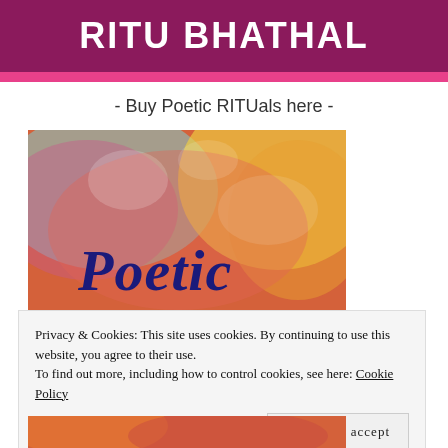RITU BHATHAL
- Buy Poetic RITUals here -
[Figure (illustration): Book cover for 'Poetic RITUals' with colorful watercolor background in pink, orange, yellow, and teal, with the word 'Poetic' in large dark navy serif font in the center]
Privacy & Cookies: This site uses cookies. By continuing to use this website, you agree to their use.
To find out more, including how to control cookies, see here: Cookie Policy
Close and accept